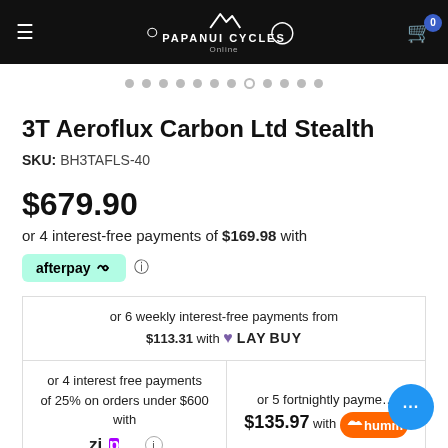Papanui Cycles Online
3T Aeroflux Carbon Ltd Stealth
SKU: BH3TAFLS-40
$679.90
or 4 interest-free payments of $169.98 with afterpay
or 6 weekly interest-free payments from $113.31 with LAYBUY
or 4 interest free payments of 25% on orders under $600 with ZIP
or 5 fortnightly payments $135.97 with humm